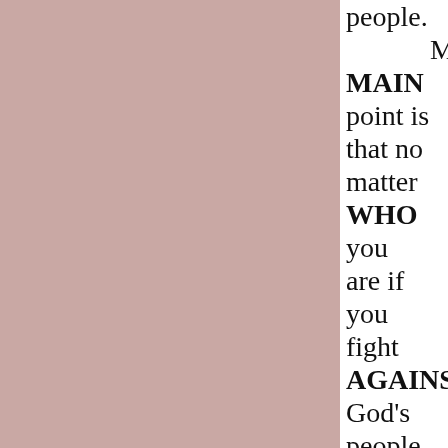people. My MAIN point is that no matter WHO you are if you fight AGAINST God's people ISRAEL then you are God's ENEMY